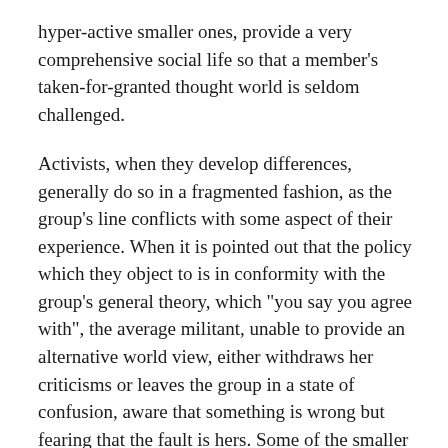hyper-active smaller ones, provide a very comprehensive social life so that a member's taken-for-granted thought world is seldom challenged.
Activists, when they develop differences, generally do so in a fragmented fashion, as the group's line conflicts with some aspect of their experience. When it is pointed out that the policy which they object to is in conformity with the group's general theory, which "you say you agree with", the average militant, unable to provide an alternative world view, either withdraws her criticisms or leaves the group in a state of confusion, aware that something is wrong but fearing that the fault is hers. Some of the smaller groups, unable to provide the extensive social life of the larger groups, rely on having a more rigorous theory, and do try to engage the larger groups in discussion.